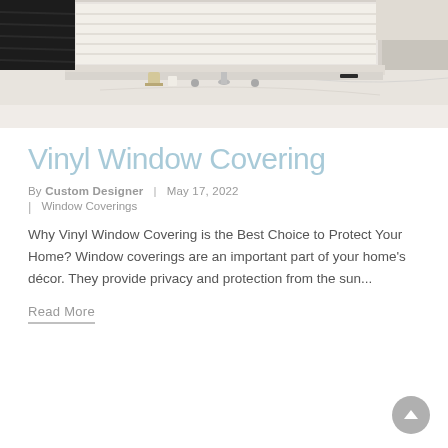[Figure (photo): Bathroom interior with white plantation shutters/blinds over window, marble countertop with faucet hardware, candles and toiletries, white bathtub edge visible in foreground, dark shutters on left side]
Vinyl Window Covering
By Custom Designer | May 17, 2022 | Window Coverings
Why Vinyl Window Covering is the Best Choice to Protect Your Home? Window coverings are an important part of your home's décor. They provide privacy and protection from the sun...
Read More